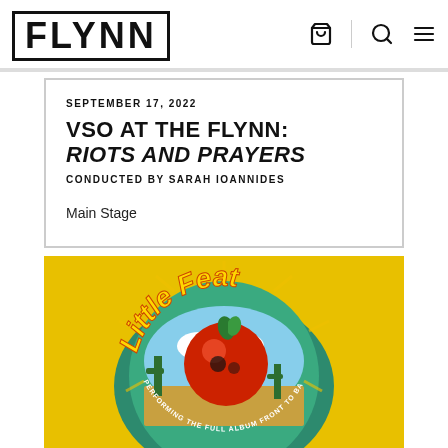FLYNN
SEPTEMBER 17, 2022
VSO AT THE FLYNN: RIOTS AND PRAYERS
CONDUCTED BY SARAH IOANNIDES
Main Stage
[Figure (illustration): Little Feat album artwork: cartoon tomato character on a yellow background with circular text reading 'performing the full album front to back']